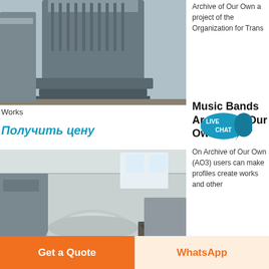[Figure (photo): Industrial machinery - large metal component (transformer or generator part) in a factory yard, partially cropped at top]
Works
Получить цену
[Figure (photo): Industrial rotor/drum component in a factory workshop, lying horizontally on shop floor]
Archive of Our Own a project of the Organization for Trans...
[Figure (other): Live Chat speech bubble badge]
Music Bands Archive of Our Own
On Archive of Our Own (AO3) users can make profiles create works and other
Get a Quote
WhatsApp